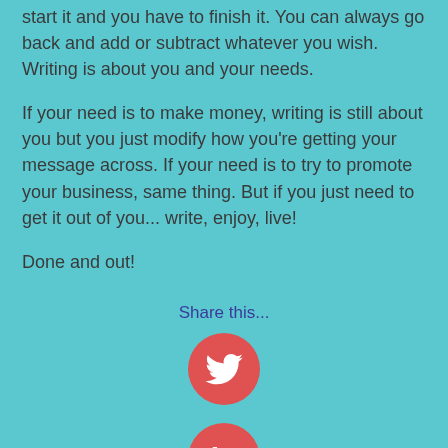start it and you have to finish it. You can always go back and add or subtract whatever you wish. Writing is about you and your needs.
If your need is to make money, writing is still about you but you just modify how you’re getting your message across. If your need is to try to promote your business, same thing. But if you just need to get it out of you... write, enjoy, live!
Done and out!
Share this...
[Figure (logo): Twitter bird logo in white on a red/coral circle button]
[Figure (logo): LinkedIn 'in' logo in white on a red/coral circle button, partially visible]